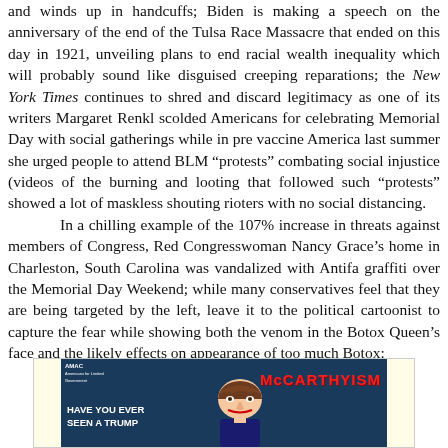and winds up in handcuffs; Biden is making a speech on the anniversary of the end of the Tulsa Race Massacre that ended on this day in 1921, unveiling plans to end racial wealth inequality which will probably sound like disguised creeping reparations; the New York Times continues to shred and discard legitimacy as one of its writers Margaret Renkl scolded Americans for celebrating Memorial Day with social gatherings while in pre vaccine America last summer she urged people to attend BLM “protests” combating social injustice (videos of the burning and looting that followed such “protests” showed a lot of maskless shouting rioters with no social distancing.

In a chilling example of the 107% increase in threats against members of Congress, Red Congresswoman Nancy Grace’s home in Charleston, South Carolina was vandalized with Antifa graffiti over the Memorial Day Weekend; while many conservatives feel that they are being targeted by the left, leave it to the political cartoonist to capture the fear while showing both the venom in the Botox Queen’s face and the likely effects on appearance of too much Botox:
[Figure (illustration): A political cartoon showing a figure with exaggerated facial features (Botox-affected face) alongside the text 'McCARTHYISM' in red letters. The cartoon has text 'HAVE YOU EVER SEEN A TRUMP...' on the left side. Logo/branding in top left corner. Dark blue background.]